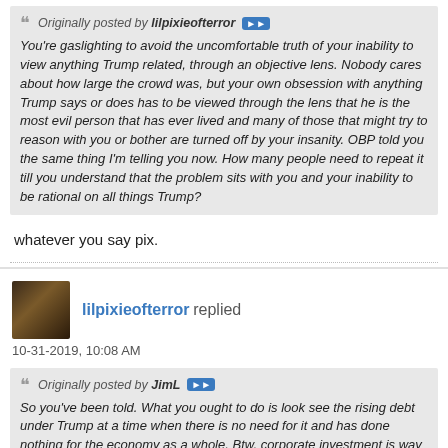Originally posted by lilpixieofterror
You're gaslighting to avoid the uncomfortable truth of your inability to view anything Trump related, through an objective lens. Nobody cares about how large the crowd was, but your own obsession with anything Trump says or does has to be viewed through the lens that he is the most evil person that has ever lived and many of those that might try to reason with you or bother are turned off by your insanity. OBP told you the same thing I'm telling you now. How many people need to repeat it till you understand that the problem sits with you and your inability to be rational on all things Trump?
whatever you say pix.
lilpixieofterror replied
10-31-2019, 10:08 AM
Originally posted by JimL
So you've been told. What you ought to do is look see the rising debt under Trump at a time when there is no need for it and has done nothing for the economy as a whole. Btw, corporate investment is way down, the 3rd quarter GDP just came in at, I believe, !.9%. Didn't Trump tell you it would be 4 to 5%. So much for the tax cuts for the wealthy, the trickle down theory. Fooled ya'll again.